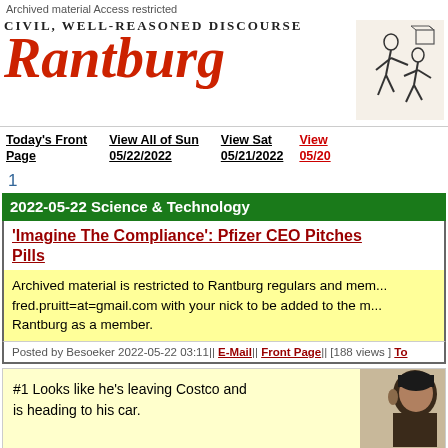Archived material Access restricted
CIVIL, WELL-REASONED DISCOURSE
Rantburg
[Figure (illustration): Black and white illustration of two men fighting/grappling]
Today's Front Page   View All of Sun 05/22/2022   View Sat 05/21/2022   View 05/20
1
2022-05-22 Science & Technology
'Imagine The Compliance': Pfizer CEO Pitches Pills
Archived material is restricted to Rantburg regulars and members. Email fred.pruitt=at=gmail.com with your nick to be added to the mailing list. Join Rantburg as a member.
Posted by Besoeker 2022-05-22 03:11|| E-Mail|| Front Page|| [188 views ] Top
#1 Looks like he's leaving Costco and is heading to his car.
[Figure (photo): Photo of a person's head/face, cropped, visible on the right side]